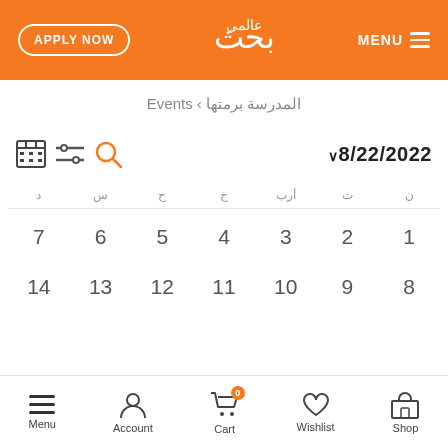[Figure (screenshot): Orange header with APPLY NOW button on left, Arabic calligraphy logo in center, MENU hamburger on right]
Events › المدرسة برمتها
[Figure (infographic): Calendar toolbar with grid icon, filter icon, search icon on left; date selector showing 8/22/2022 on right]
[Figure (infographic): Calendar grid showing August 2022 with Arabic day headers (ن ث أرب خ ح س د) and dates 1-14 visible in two rows]
Menu  Account  Cart  Wishlist  Shop